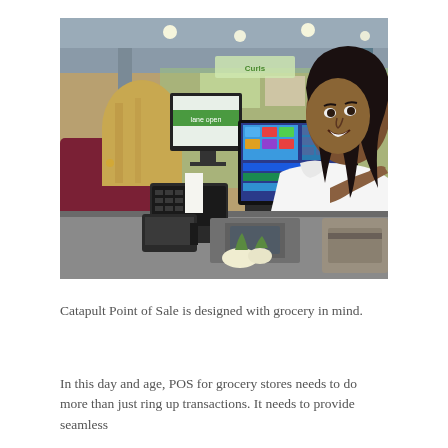[Figure (photo): A smiling female cashier in a white polo shirt operating a point-of-sale touchscreen terminal at a grocery store checkout counter, with a customer visible from behind on the left side.]
Catapult Point of Sale is designed with grocery in mind.
In this day and age, POS for grocery stores needs to do more than just ring up transactions. It needs to provide seamless